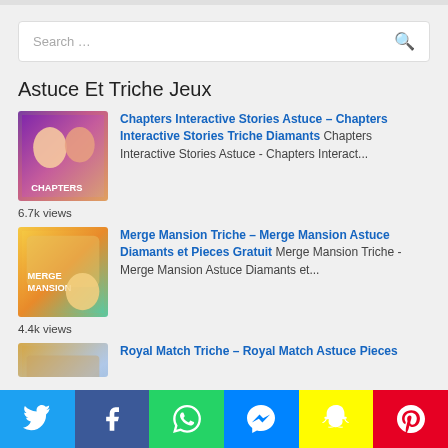Search …
Astuce Et Triche Jeux
[Figure (screenshot): Chapters Interactive Stories game thumbnail]
Chapters Interactive Stories Astuce – Chapters Interactive Stories Triche Diamants Chapters Interactive Stories Astuce - Chapters Interact...
6.7k views
[Figure (screenshot): Merge Mansion game thumbnail]
Merge Mansion Triche – Merge Mansion Astuce Diamants et Pieces Gratuit Merge Mansion Triche - Merge Mansion Astuce Diamants et...
4.4k views
[Figure (screenshot): Royal Match game thumbnail]
Royal Match Triche – Royal Match Astuce Pieces
Twitter | Facebook | WhatsApp | Messenger | Snapchat | Pinterest